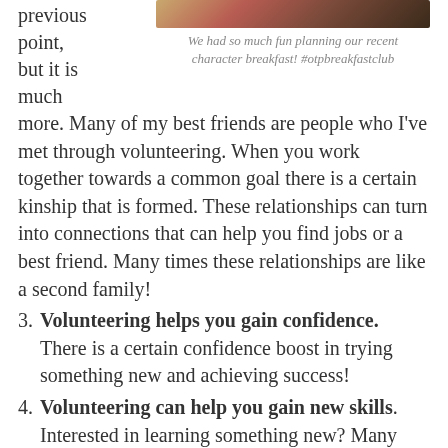previous point, but it is much
[Figure (photo): Photo of flowers/floral arrangement at top right of page]
We had so much fun planning our recent character breakfast! #otpbreakfastclub
more. Many of my best friends are people who I've met through volunteering. When you work together towards a common goal there is a certain kinship that is formed. These relationships can turn into connections that can help you find jobs or a best friend. Many times these relationships are like a second family!
3. Volunteering helps you gain confidence. There is a certain confidence boost in trying something new and achieving success!
4. Volunteering can help you gain new skills. Interested in learning something new? Many organizations are willing to teach you skills to help you participate in the area of your interest. My son, Daniel, started volunteering at a very young age. Our technical director at that time,